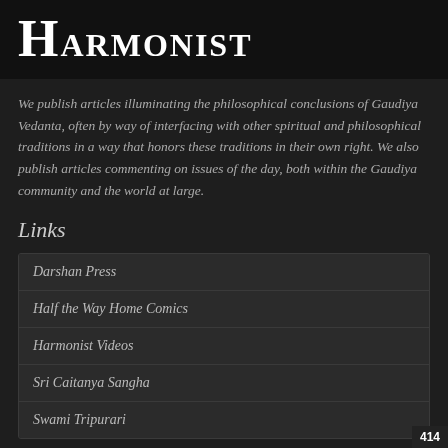Harmonist
We publish articles illuminating the philosophical conclusions of Gaudiya Vedanta, often by way of interfacing with other spiritual and philosophical traditions in a way that honors these traditions in their own right. We also publish articles commenting on issues of the day, both within the Gaudiya community and the world at large.
Links
Darshan Press
Half the Way Home Comics
Harmonist Videos
Sri Caitanya Sangha
Swami Tripurari
Categories
414